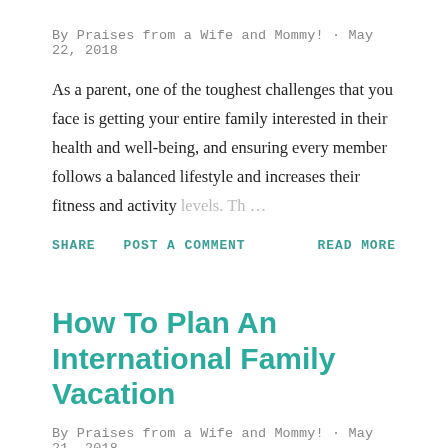By Praises from a Wife and Mommy! · May 22, 2018
As a parent, one of the toughest challenges that you face is getting your entire family interested in their health and well-being, and ensuring every member follows a balanced lifestyle and increases their fitness and activity levels. Th …
SHARE   POST A COMMENT   READ MORE
How To Plan An International Family Vacation
By Praises from a Wife and Mommy! · May 21, 2018
For many people, vacations are sacred, and they do it to